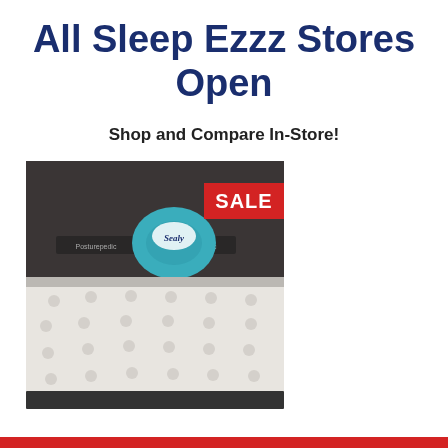All Sleep Ezzz Stores Open
Shop and Compare In-Store!
[Figure (photo): Photo of a Sealy mattress on a bed frame in a store display, with a teal Sealy-branded pillow. A red SALE banner is visible in the upper right corner of the image.]